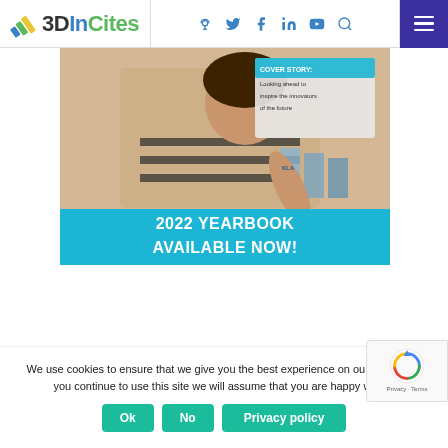3DInCites
[Figure (photo): Photo of a child reaching toward equipment, with a magazine/publication overlay showing 'COVER STORY: Looking ahead to inspire the innovators of the future' and a blue banner reading '2022 YEARBOOK AVAILABLE NOW!']
We use cookies to ensure that we give you the best experience on our website. If you continue to use this site we will assume that you are happy with it.
Ok  No  Privacy policy